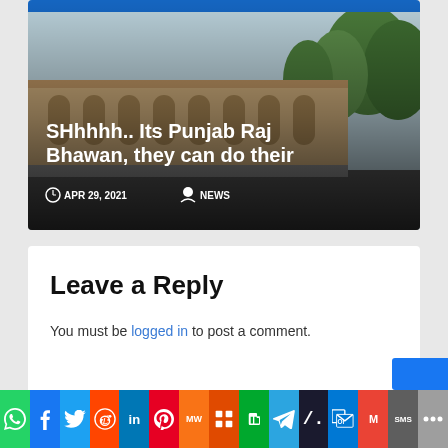[Figure (photo): Article card with building photo in background showing 'SHhhhh.. Its Punjab Raj Bhawan, they can do their' headline with date APR 29, 2021 and NEWS category tag]
SHhhhh.. Its Punjab Raj Bhawan, they can do their
APR 29, 2021   NEWS
Leave a Reply
You must be logged in to post a comment.